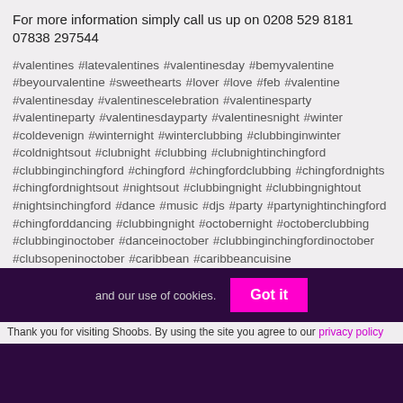For more information simply call us up on 0208 529 8181 07838 297544
#valentines #latevalentines #valentinesday #bemyvalentine #beyourvalentine #sweethearts #lover #love #feb #valentine #valentinesday #valentinescelebration #valentinesparty #valentineparty #valentinesdayparty #valentinesnight #winter #coldevenign #winternight #winterclubbing #clubbinginwinter #coldnightsout #clubnight #clubbing #clubnightinchingford #clubbinginchingford #chingford #chingfordclubbing #chingfordnights #chingfordnightsout #nightsout #clubbingnight #clubbingnightout #nightsinchingford #dance #music #djs #party #partynightinchingford #chingforddancing #clubbingnight #octobernight #octoberclubbing #clubbinginoctober #danceinoctober #clubbinginchingfordinoctober #clubsopeninoctober #caribbean #caribbeancuisine #caribbeandelicacy #caribbeanfood #caribbeanfooditems #caribbeanmeanu #soulfood #soulmusic #soulsound #streetmusic #club #exclusive #exclusiveentry #chingfordfood
Thank you for visiting Shoobs. By using the site you agree to our privacy policy and our use of cookies. Got it